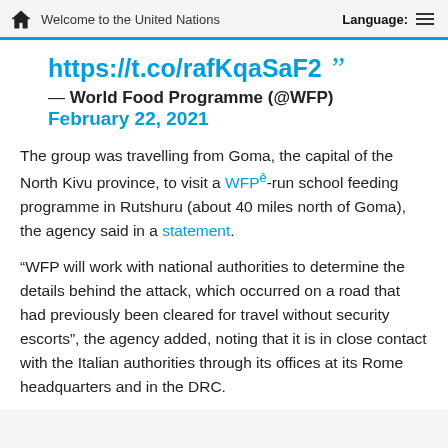Welcome to the United Nations   Language:
https://t.co/rafKqaSaF2 ””
— World Food Programme (@WFP) February 22, 2021
The group was travelling from Goma, the capital of the North Kivu province, to visit a WFP-run school feeding programme in Rutshuru (about 40 miles north of Goma), the agency said in a statement.
“WFP will work with national authorities to determine the details behind the attack, which occurred on a road that had previously been cleared for travel without security escorts”, the agency added, noting that it is in close contact with the Italian authorities through its offices at its Rome headquarters and in the DRC.